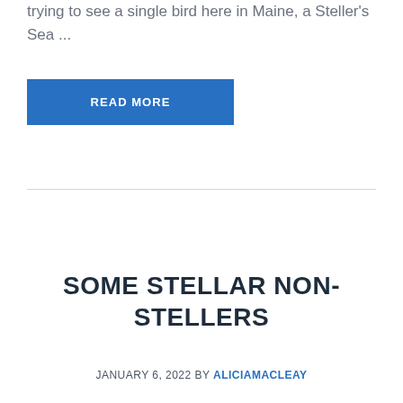trying to see a single bird here in Maine, a Steller's Sea ...
READ MORE
SOME STELLAR NON-STELLERS
JANUARY 6, 2022 by ALICIAMACLEAY